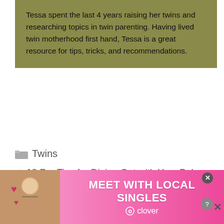Tessa spent the last 4 years raising her twins and researching topics in twin parenting. Having lived twin motherhood first hand, Tessa is a great resource for tips, tricks, and recommendations.
Twins
< 10 Pro Tips for Dining Out with Your Baby that Parenting Experts Swear By
> Twin Z vs. My Brest Friend: Which Tandem Nursing Pillow is Best?
[Figure (photo): Advertisement banner: woman smiling with headset, pink gradient background, text 'MEET WITH LOCAL SINGLES' and clover logo]